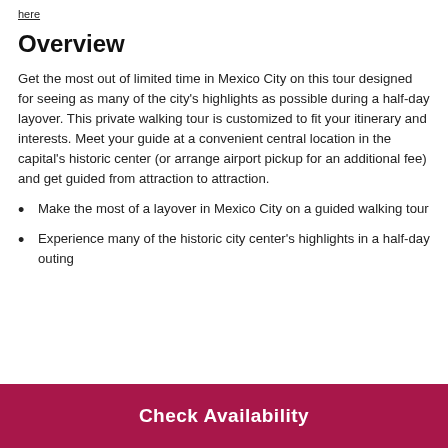here
Overview
Get the most out of limited time in Mexico City on this tour designed for seeing as many of the city's highlights as possible during a half-day layover. This private walking tour is customized to fit your itinerary and interests. Meet your guide at a convenient central location in the capital's historic center (or arrange airport pickup for an additional fee) and get guided from attraction to attraction.
Make the most of a layover in Mexico City on a guided walking tour
Experience many of the historic city center's highlights in a half-day outing
Check Availability